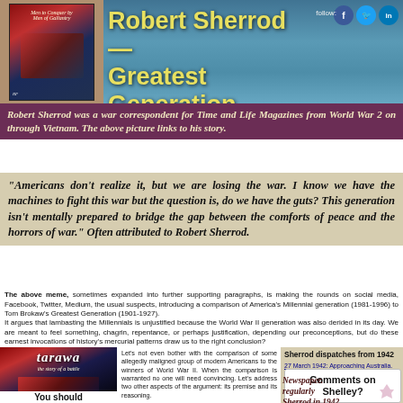Robert Sherrod — Greatest Generation
Robert Sherrod was a war correspondent for Time and Life Magazines from World War 2 on through Vietnam. The above picture links to his story.
"Americans don't realize it, but we are losing the war. I know we have the machines to fight this war but the question is, do we have the guts? This generation isn't mentally prepared to bridge the gap between the comforts of peace and the horrors of war." Often attributed to Robert Sherrod.
The above meme, sometimes expanded into further supporting paragraphs, is making the rounds on social media, Facebook, Twitter, Medium, the usual suspects, introducing a comparison of America's Millennial generation (1981-1996) to Tom Brokaw's Greatest Generation (1901-1927).
It argues that lambasting the Millennials is unjustified because the World War II generation was also derided in its day. We are meant to feel something, chagrin, repentance, or perhaps justification, depending our preconceptions, but do these earnest invocations of history's mercurial patterns draw us to the right conclusion?
[Figure (illustration): Book cover of 'tarawa' by Robert Sherrod with red/dark cover art. Below shows text 'You should']
Let's not even bother with the comparison of some allegedly maligned group of modern Americans to the winners of World War II. When the comparison is warranted no one will need convincing. Let's address two other aspects of the argument: its premise and its reasoning. The reasoning that compares The Greatest Generation to The Millennials seems to go like this, "The Greatest Generation was maligned before they won the war, so maybe the Millennials will do something just as great." But singling out The Greatest Generation to drive home this point is misleading. It's like arguing that the winners of the 1908 pennant got lots of bad press, and the Team-of-your-choice are also criticised, so maybe they will win the pennant. In fact, as some of the meme-renderings point out, finding fault with the
Sherrod dispatches from 1942
27 March 1942: Approaching Australia.
9 April 1942: Plea...
1 June 1942: A... Enemy.
2 June 1942: Air A...
Comments on Shelley?
Newspaper. regularly Sherrod in 1942...